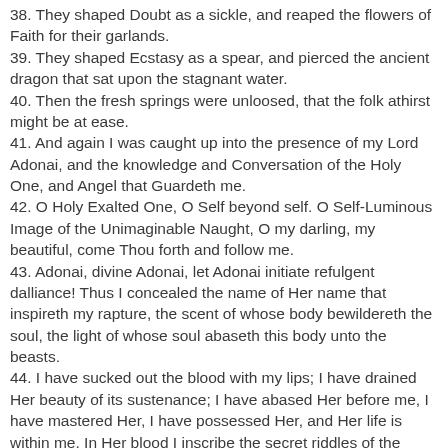38. They shaped Doubt as a sickle, and reaped the flowers of Faith for their garlands.
39. They shaped Ecstasy as a spear, and pierced the ancient dragon that sat upon the stagnant water.
40. Then the fresh springs were unloosed, that the folk athirst might be at ease.
41. And again I was caught up into the presence of my Lord Adonai, and the knowledge and Conversation of the Holy One, and Angel that Guardeth me.
42. O Holy Exalted One, O Self beyond self. O Self-Luminous Image of the Unimaginable Naught, O my darling, my beautiful, come Thou forth and follow me.
43. Adonai, divine Adonai, let Adonai initiate refulgent dalliance! Thus I concealed the name of Her name that inspireth my rapture, the scent of whose body bewildereth the soul, the light of whose soul abaseth this body unto the beasts.
44. I have sucked out the blood with my lips; I have drained Her beauty of its sustenance; I have abased Her before me, I have mastered Her, I have possessed Her, and Her life is within me. In Her blood I inscribe the secret riddles of the Sphinx of the Gods, that none shall understand — save only